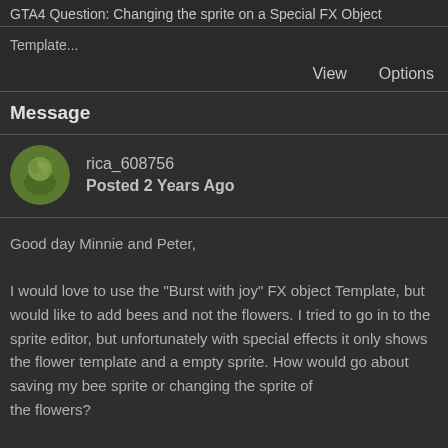GTA4 Question: Changing the sprite on a Special FX Object
Template...
View   Options
Message
rica_608756
Posted 2 Years Ago
Good day Minnie and Peter,

I would love to use the "Burst with joy" FX object Template, but would like to add bees and not the flowers.  I tried to go in to the sprite editor, but unfortunately with special effects it only shows the flower template and a empty sprite.  How would go about saving my bee sprite or changing the sprite of the flowers?